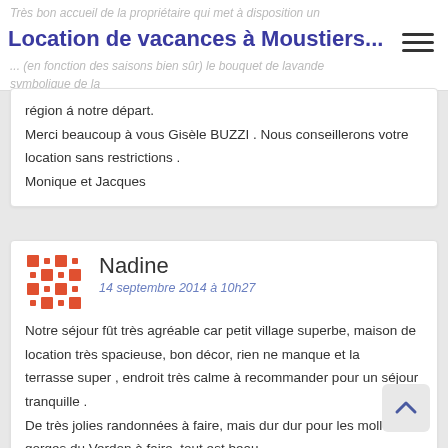Location de vacances à Moustiers...
Très bon accueil de la propriétaire qui met à disposition un ... (en fonction des saisons bien sûr) le bouquet de lavande symbolique de la région à notre départ.
Merci beaucoup à vous Gisèle BUZZI . Nous conseillerons votre location sans restrictions .
Monique et Jacques
[Figure (other): Avatar icon for reviewer Nadine - orange/red diamond grid pattern]
Nadine
14 septembre 2014 à 10h27
Notre séjour fût très agréable car petit village superbe, maison de location très spacieuse, bon décor, rien ne manque et la terrasse super , endroit très calme à recommander pour un séjour tranquille .
De très jolies randonnées à faire, mais dur dur pour les mollets, gorges du Verdon à faire, tout est beau .
Nous gardons un très bon souvenir .
Très bon accueil de la part de Mme Buzzi